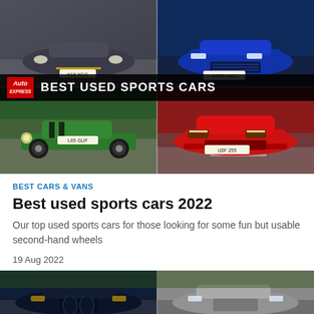[Figure (photo): Collage of four sports cars: top-left grey Mercedes AMG, top-right blue Audi R8, bottom-left green Caterham Seven (plate L65 GUF), bottom-right red Jaguar F-Type (plate U0F 255), with Auto Express 'BEST USED SPORTS CARS' banner overlay in the center]
BEST CARS & VANS
Best used sports cars 2022
Our top used sports cars for those looking for some fun but usable second-hand wheels
19 Aug 2022
[Figure (photo): Two luxury saloon cars side by side: a dark navy/black car on the left and a silver/grey car on the right, both on a road]